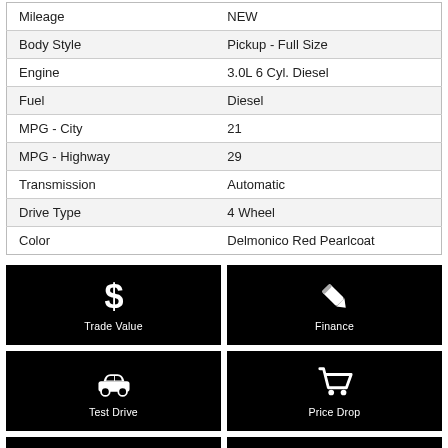| Property | Value |
| --- | --- |
| Mileage | NEW |
| Body Style | Pickup - Full Size |
| Engine | 3.0L 6 Cyl. Diesel |
| Fuel | Diesel |
| MPG - City | 21 |
| MPG - Highway | 29 |
| Transmission | Automatic |
| Drive Type | 4 Wheel |
| Color | Delmonico Red Pearlcoat |
[Figure (infographic): Trade Value button with dollar sign icon on black background]
[Figure (infographic): Finance button with pencil icon on black background]
[Figure (infographic): Test Drive button with car icon on black background]
[Figure (infographic): Price Drop button with shopping cart icon on black background]
[Figure (infographic): Partially visible button on black background (bottom left)]
[Figure (infographic): Partially visible button on black background (bottom right)]